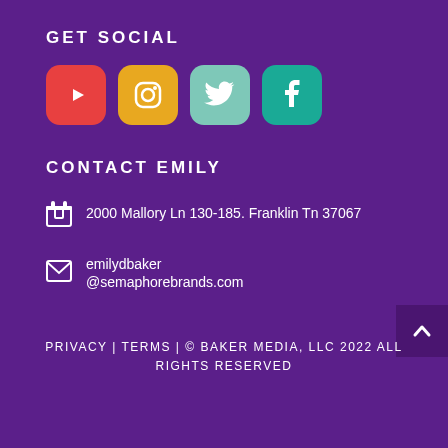GET SOCIAL
[Figure (illustration): Four social media icons: YouTube (red), Instagram (yellow/gold), Twitter (light teal), Facebook (dark teal)]
CONTACT EMILY
2000 Mallory Ln 130-185. Franklin Tn 37067
emilydbaker @semaphorebrands.com
PRIVACY | TERMS | © BAKER MEDIA, LLC 2022 ALL RIGHTS RESERVED